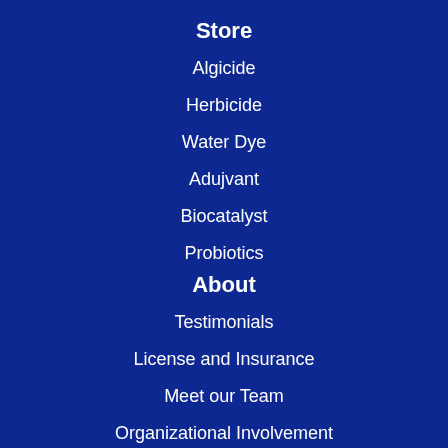Store
Algicide
Herbicide
Water Dye
Adujvant
Biocatalyst
Probiotics
About
Testimonials
License and Insurance
Meet our Team
Organizational Involvement